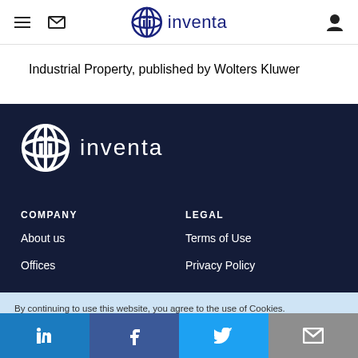inventa (logo header with menu, mail, user icons)
Industrial Property, published by Wolters Kluwer
[Figure (logo): Inventa logo in white on dark navy background]
COMPANY
About us
Offices
LEGAL
Terms of Use
Privacy Policy
By continuing to use this website, you agree to the use of Cookies.
Learn more
I UNDERSTAND
Social share bar: LinkedIn, Facebook, Twitter, Email